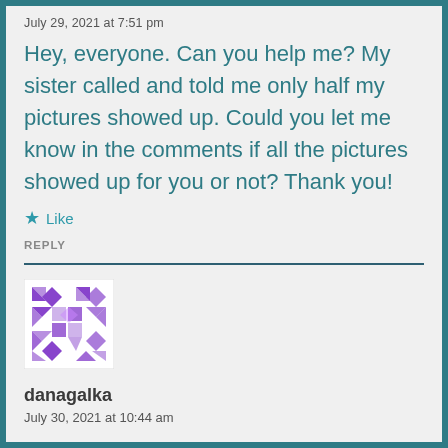July 29, 2021 at 7:51 pm
Hey, everyone. Can you help me? My sister called and told me only half my pictures showed up. Could you let me know in the comments if all the pictures showed up for you or not? Thank you!
★ Like
REPLY
[Figure (illustration): Purple decorative avatar/identicon with geometric diamond and cross pattern on white background]
danagalka
July 30, 2021 at 10:44 am